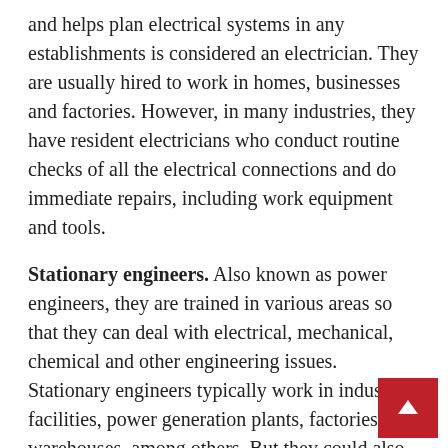and helps plan electrical systems in any establishments is considered an electrician. They are usually hired to work in homes, businesses and factories. However, in many industries, they have resident electricians who conduct routine checks of all the electrical connections and do immediate repairs, including work equipment and tools.
Stationary engineers. Also known as power engineers, they are trained in various areas so that they can deal with electrical, mechanical, chemical and other engineering issues. Stationary engineers typically work in industrial facilities, power generation plants, factories and warehouses, among others. But they could also be found in public service establishments like hospitals, and commercial and office buildings.